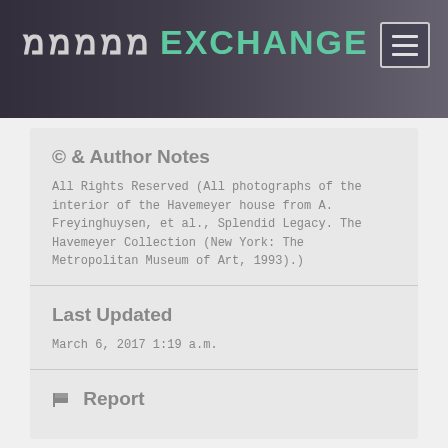מPANA EXCHANGE
© & Author Notes
All Rights Reserved (All photographs of the interior of the Havemeyer house from A. Freyinghuysen, et al., Splendid Legacy. The Havemeyer Collection (New York: The Metropolitan Museum of Art, 1993).)
Last Updated
March 6, 2017 1:19 a.m.
Report